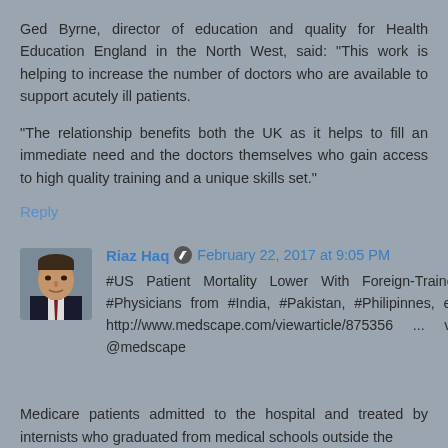Ged Byrne, director of education and quality for Health Education England in the North West, said: "This work is helping to increase the number of doctors who are available to support acutely ill patients.
"The relationship benefits both the UK as it helps to fill an immediate need and the doctors themselves who gain access to high quality training and a unique skills set."
Reply
Riaz Haq  February 22, 2017 at 9:05 PM
[Figure (photo): Profile photo of Riaz Haq, a man in a suit and tie]
#US Patient Mortality Lower With Foreign-Trained #Physicians from #India, #Pakistan, #Philipinnes, etc http://www.medscape.com/viewarticle/875356 ... via @medscape
Medicare patients admitted to the hospital and treated by internists who graduated from medical schools outside the